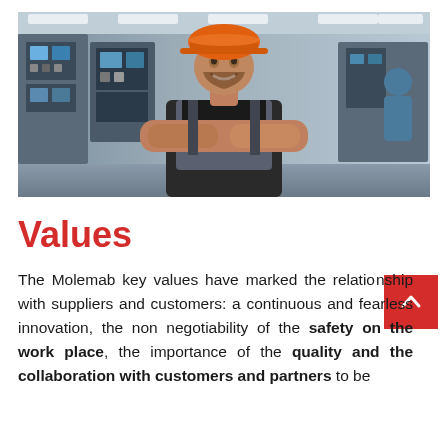[Figure (photo): A smiling male worker wearing an orange hard hat and dark overalls with his arms crossed, standing in an industrial factory setting with machinery and control panels in the background.]
Values
The Molemab key values have marked the relationship with suppliers and customers: a continuous and fearless innovation, the non negotiability of the safety on the work place, the importance of the quality and the collaboration with customers and partners to be